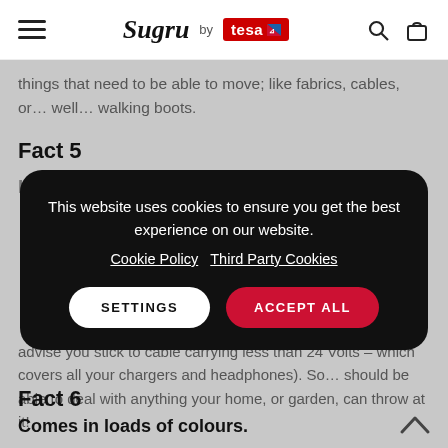Sugru by tesa
things that need to be able to move; like fabrics, cables, or… well… walking boots.
Fact 5
This website uses cookies to ensure you get the best experience on our website. Cookie Policy Third Party Cookies
advise you stick to cable carrying less than 24 Volts – which covers all your chargers and headphones). So… should be able to deal with anything your home, or garden, can throw at it!
Fact 6
Comes in loads of colours.